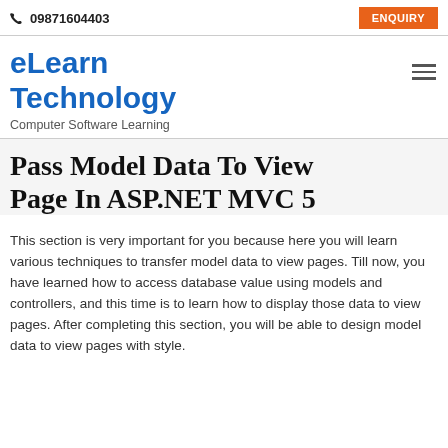📞 09871604403    ENQUIRY
eLearn Technology
Computer Software Learning
Pass Model Data To View Page In ASP.NET MVC 5
This section is very important for you because here you will learn various techniques to transfer model data to view pages. Till now, you have learned how to access database value using models and controllers, and this time is to learn how to display those data to view pages. After completing this section, you will be able to design model data to view pages with style.